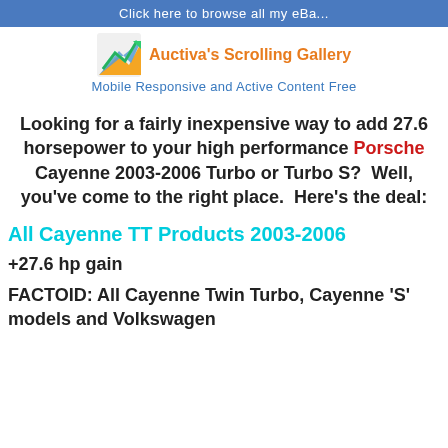Click here to browse all my eBa...
[Figure (logo): Auctiva logo: arrow chart icon in blue and orange/green]
Auctiva's Scrolling Gallery
Mobile Responsive and Active Content Free
Looking for a fairly inexpensive way to add 27.6 horsepower to your high performance Porsche Cayenne 2003-2006 Turbo or Turbo S?  Well, you've come to the right place.  Here's the deal:
All Cayenne TT Products 2003-2006
+27.6 hp gain
FACTOID: All Cayenne Twin Turbo, Cayenne 'S' models and Volkswagen